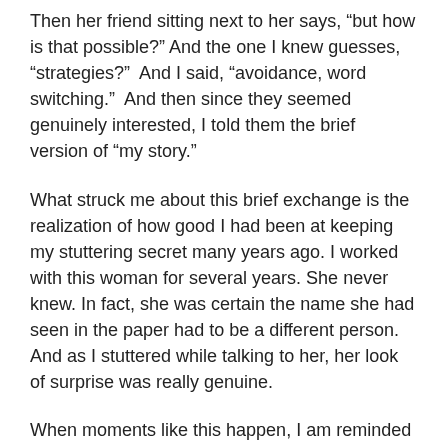Then her friend sitting next to her says, “but how is that possible?” And the one I knew guesses, “strategies?”  And I said, “avoidance, word switching.”  And then since they seemed genuinely interested, I told them the brief version of “my story.”
What struck me about this brief exchange is the realization of how good I had been at keeping my stuttering secret many years ago. I worked with this woman for several years. She never knew. In fact, she was certain the name she had seen in the paper had to be a different person. And as I stuttered while talking to her, her look of surprise was really genuine.
When moments like this happen, I am reminded of how very far I have come. And how deeply I had buried the real